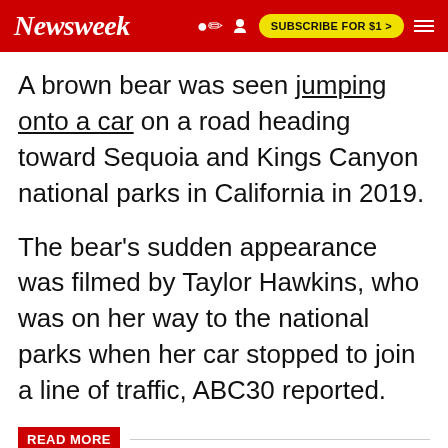Newsweek | SUBSCRIBE FOR $1 >
A brown bear was seen jumping onto a car on a road heading toward Sequoia and Kings Canyon national parks in California in 2019.
The bear's sudden appearance was filmed by Taylor Hawkins, who was on her way to the national parks when her car stopped to join a line of traffic, ABC30 reported.
READ MORE
Grizzly Bear Defending Her Cub Attacks Father and Son in Montana